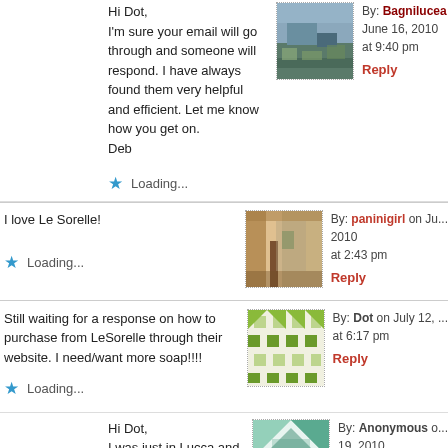Hi Dot,
I'm sure your email will go through and someone will respond. I have always found them very helpful and efficient. Let me know how you get on.
Deb
By: Bagnilucea June 16, 2010 at 9:40 pm
Reply
Loading...
I love Le Sorelle!
By: paninigirl on June 2010 at 2:43 pm
Reply
Loading...
Still waiting for a response on how to purchase from LeSorelle through their website. I need/want more soap!!!!
By: Dot on July 12, at 6:17 pm
Reply
Loading...
Hi Dot,
I was just in Lucca and bought some tableclothes and napkins from Le Sorelle. I would call them at 0583 48631 because ordering on their website is impossible!
By: Anonymous on 19, 2010 at 7:32 pm
Reply